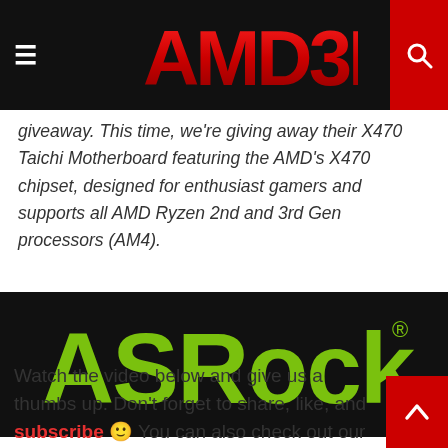AMD3D
giveaway. This time, we're giving away their X470 Taichi Motherboard featuring the AMD's X470 chipset, designed for enthusiast gamers and supports all AMD Ryzen 2nd and 3rd Gen processors (AM4).
[Figure (logo): ASRock brand logo in green on a black background]
Watch the video below and give us a thumbs up. Don't forget to share, like, and subscribe 🙂 You can also check out our latest ASRock reviews here.